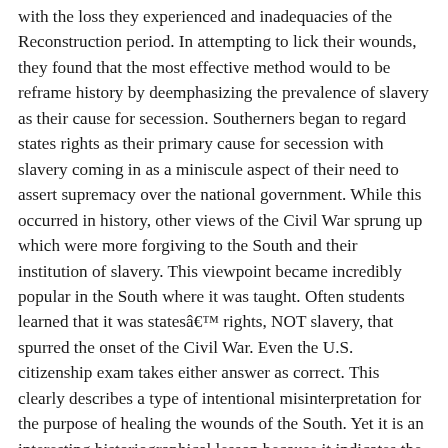with the loss they experienced and inadequacies of the Reconstruction period. In attempting to lick their wounds, they found that the most effective method would to be reframe history by deemphasizing the prevalence of slavery as their cause for secession. Southerners began to regard states rights as their primary cause for secession with slavery coming in as a miniscule aspect of their need to assert supremacy over the national government. While this occurred in history, other views of the Civil War sprung up which were more forgiving to the South and their institution of slavery. This viewpoint became incredibly popular in the South where it was taught. Often students learned that it was statesâ€™ rights, NOT slavery, that spurred the onset of the Civil War. Even the U.S. citizenship exam takes either answer as correct. This clearly describes a type of intentional misinterpretation for the purpose of healing the wounds of the South. Yet it is an interesting historiographical lesson because it indicates the ways in which historians can alter their conclusions based upon the sources they use and those that they ignore. In ignoring these documents which actually prove statesâ€™ rights was a smokescreen for the topic of slavery, these historians have changed the mindset of many Southerners and spurred incomplete Civil War knowledge for students.